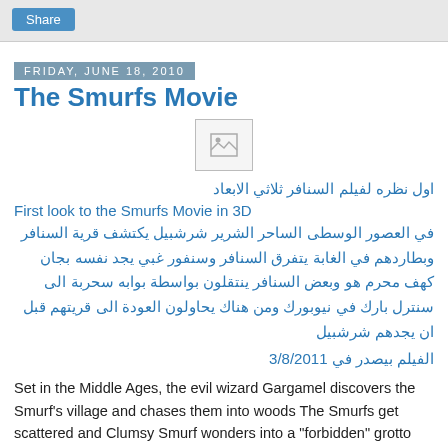Share
Friday, June 18, 2010
The Smurfs Movie
[Figure (illustration): Broken/placeholder image icon]
اول نظره لفيلم السنافر ثلاثي الابعاد
First look to the Smurfs Movie in 3D
في العصور الوسطى الساحر الشرير شرشبيل يكتشف قرية السنافر وبطاردهم في الغابة يتفرق السنافر وسنفور غبي يجد نفسه بجان كهف محرم هو وبعض السنافر ينتقلون بواسطة بوابه سحربة الى سنترل بارك في نيوبورك ومن هناك يحاولون العودة الى قريتهم قبل ان يجدهم شرشبيل
الفيلم بيصدر في 3/8/2011
Set in the Middle Ages, the evil wizard Gargamel discovers the Smurf's village and chases them into woods The Smurfs get scattered and Clumsy Smurf wonders into a "forbidden" grotto and some of the other Smurfs follow a magical portal within the grotto transports them into Central Park in New